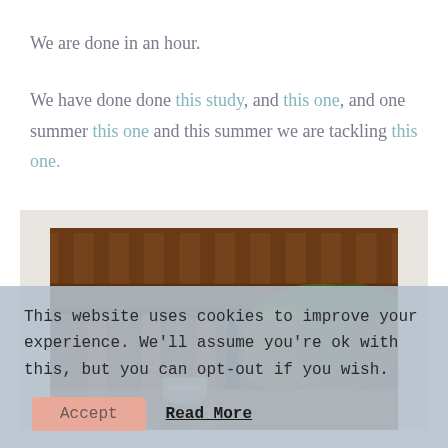We are done in an hour.
We have done this study, and this one, and one summer this one and this summer we are tackling this one.
[Figure (photo): Outdoor wooden dining furniture with green plant in background, warm bokeh, blurred natural setting]
This website uses cookies to improve your experience. We'll assume you're ok with this, but you can opt-out if you wish.
Accept   Read More